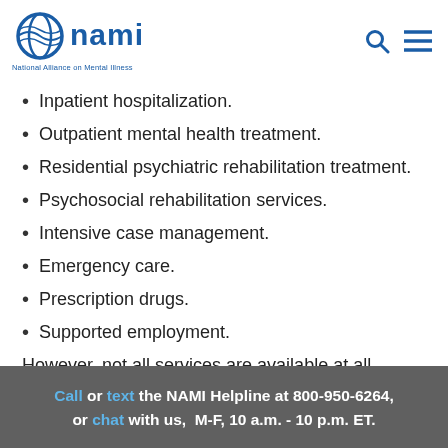NAMI - National Alliance on Mental Illness
Inpatient hospitalization.
Outpatient mental health treatment.
Residential psychiatric rehabilitation treatment.
Psychosocial rehabilitation services.
Intensive case management.
Emergency care.
Prescription drugs.
Supported employment.
However, not all services are available at all locations.
Call or text the NAMI Helpline at 800-950-6264, or chat with us, M-F, 10 a.m. - 10 p.m. ET.